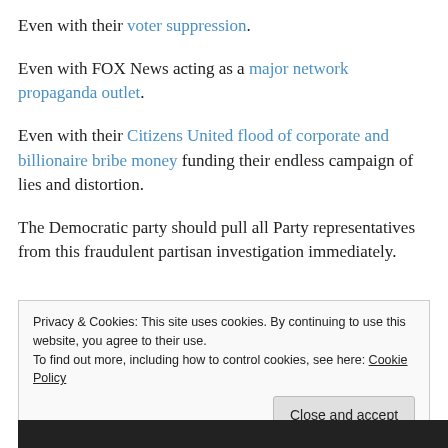Even with their voter suppression.
Even with FOX News acting as a major network propaganda outlet.
Even with their Citizens United flood of corporate and billionaire bribe money funding their endless campaign of lies and distortion.
The Democratic party should pull all Party representatives from this fraudulent partisan investigation immediately.
Privacy & Cookies: This site uses cookies. By continuing to use this website, you agree to their use.
To find out more, including how to control cookies, see here: Cookie Policy
Close and accept